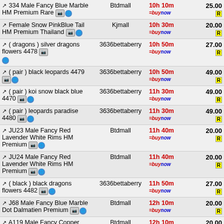| Item | Seller | Time / Buy | Price |
| --- | --- | --- | --- |
| 334 Male Fancy Blue Marble HM Premium Rare | Btdmall | 10h 10m | 25.00 |
| Female Snow PinkBlue Tail HM Premium Thailand | Kjmall | 10h 30m | 20.00 |
| ( dragons ) silver dragons flowers 4478 | 3636bettaberry | 10h 50m | 27.00 |
| ( pair ) black leopards 4479 | 3636bettaberry | 10h 50m | 49.00 |
| ( pair ) koi snow black blue 4470 | 3636bettaberry | 11h 30m | 49.00 |
| ( pair ) leopards paradise 4480 | 3636bettaberry | 11h 30m | 49.00 |
| JU23 Male Fancy Red Lavender White Rims HM Premium | Btdmall | 11h 40m | 20.00 |
| JU24 Male Fancy Red Lavender White Rims HM Premium | Btdmall | 11h 40m | 20.00 |
| ( black ) black dragons flowers 4482 | 3636bettaberry | 11h 50m | 27.00 |
| J68 Male Fancy Blue Marble Dot Dalmatien Premium | Btdmall | 12h 10m | 20.00 |
| A119 Male Fancy Copper Blue HM Premium Grade | Btdmall | 12h 10m | 20.00 |